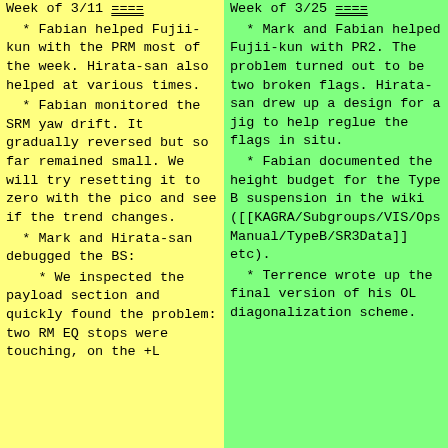Week of 3/11 ====
* Fabian helped Fujii-kun with the PRM most of the week. Hirata-san also helped at various times.
* Fabian monitored the SRM yaw drift. It gradually reversed but so far remained small. We will try resetting it to zero with the pico and see if the trend changes.
* Mark and Hirata-san debugged the BS:
* We inspected the payload section and quickly found the problem: two RM EQ stops were touching, on the +L
Week of 3/25 ====
* Mark and Fabian helped Fujii-kun with PR2. The problem turned out to be two broken flags. Hirata-san drew up a design for a jig to help reglue the flags in situ.
* Fabian documented the height budget for the Type B suspension in the wiki ([[KAGRA/Subgroups/VIS/OpsManual/TypeB/SR3Data]] etc).
* Terrence wrote up the final version of his OL diagonalization scheme.